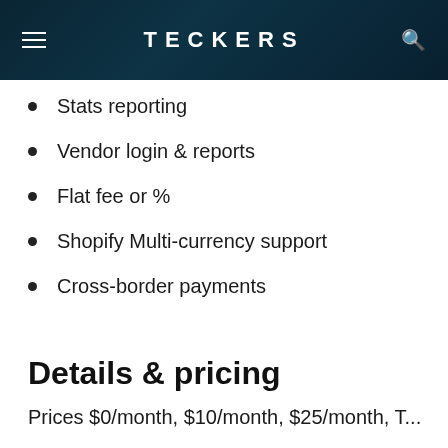TECKERS
Stats reporting
Vendor login & reports
Flat fee or %
Shopify Multi-currency support
Cross-border payments
Details & pricing
Prices $0/month, $10/month, $25/month, T...